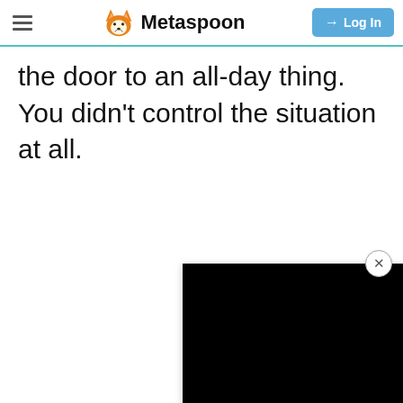Metaspoon — Log In
the door to an all-day thing. You didn't control the situation at all.
[Figure (screenshot): A black video player/advertisement box with an X close button in the top-right corner, partially visible on the right side of the page.]